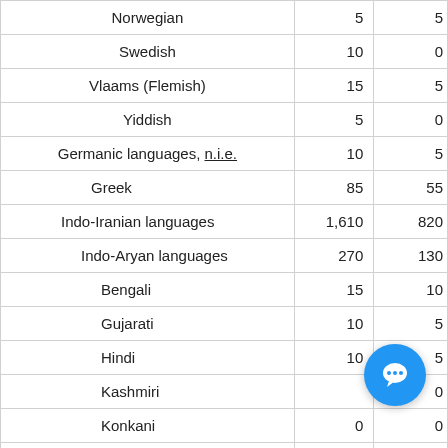| Language | Col1 | Col2 |
| --- | --- | --- |
| Norwegian | 5 | 5 |
| Swedish | 10 | 0 |
| Vlaams (Flemish) | 15 | 5 |
| Yiddish | 5 | 0 |
| Germanic languages, n.i.e. | 10 | 5 |
| Greek | 85 | 55 |
| Indo-Iranian languages | 1,610 | 820 |
| Indo-Aryan languages | 270 | 130 |
| Bengali | 15 | 10 |
| Gujarati | 10 | 5 |
| Hindi | 10 | 5 |
| Kashmiri |  | 0 |
| Konkani | 0 | 0 |